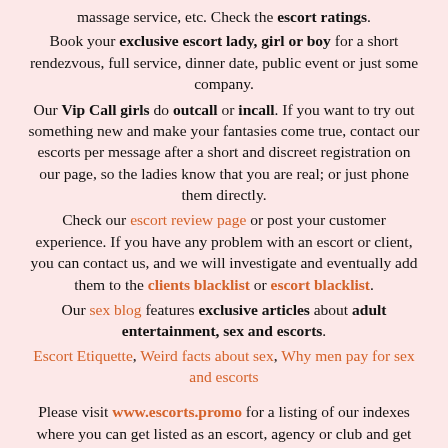massage service, etc. Check the escort ratings. Book your exclusive escort lady, girl or boy for a short rendezvous, full service, dinner date, public event or just some company.
Our Vip Call girls do outcall or incall. If you want to try out something new and make your fantasies come true, contact our escorts per message after a short and discreet registration on our page, so the ladies know that you are real; or just phone them directly.
Check our escort review page or post your customer experience. If you have any problem with an escort or client, you can contact us, and we will investigate and eventually add them to the clients blacklist or escort blacklist.
Our sex blog features exclusive articles about adult entertainment, sex and escorts.
Escort Etiquette, Weird facts about sex, Why men pay for sex and escorts
Please visit www.escorts.promo for a listing of our indexes where you can get listed as an escort, agency or club and get discounts and promotions for advertising in several listings on...